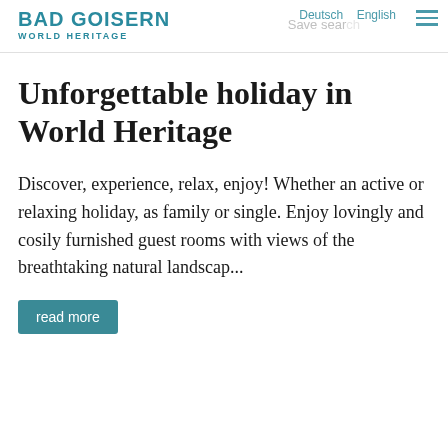BAD GOISERN WORLD HERITAGE | Deutsch | English | Save search
Unforgettable holiday in World Heritage
Discover, experience, relax, enjoy! Whether an active or relaxing holiday, as family or single. Enjoy lovingly and cosily furnished guest rooms with views of the breathtaking natural landscap...
read more